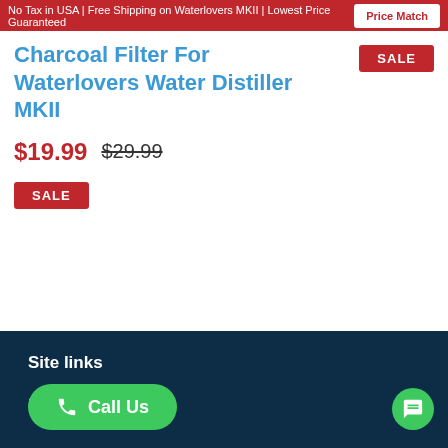No Tax in USA | Free Shipping on Waterlovers MKII | Lowest Price Guaranteed
Charcoal Filter For Waterlovers Water Distiller MKII
$19.99  $29.99
SALE
Site links
Home
Call Us